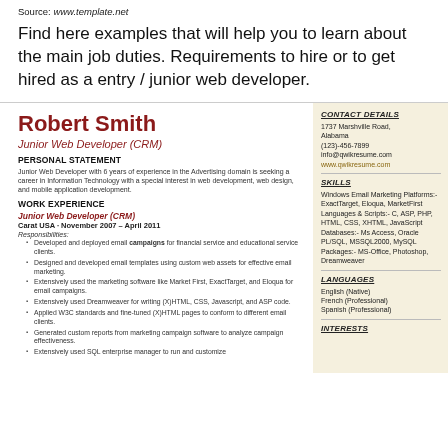Source: www.template.net
Find here examples that will help you to learn about the main job duties. Requirements to hire or to get hired as a entry / junior web developer.
Robert Smith
Junior Web Developer (CRM)
PERSONAL STATEMENT
Junior Web Developer with 6 years of experience in the Advertising domain is seeking a career in Information Technology with a special interest in web development, web design, and mobile application development.
WORK EXPERIENCE
Junior Web Developer (CRM)
Carat USA · November 2007 – April 2011
Responsibilities:
Developed and deployed email campaigns for financial service and educational service clients.
Designed and developed email templates using custom web assets for effective email marketing.
Extensively used the marketing software like Market First, ExactTarget and Eloqua for email campaigns.
Extensively used Dreamweaver for writing (X)HTML, CSS, Javascript, and ASP code.
Applied W3C standards and fine-tuned (X)HTML pages to conform to different email clients.
Generated custom reports from marketing campaign software to analyze campaign effectiveness.
Extensively used SQL enterprise manager to run and customize
CONTACT DETAILS
1737 Marshville Road, Alabama
(123)-456-7899
info@qwikresume.com
www.qwikresume.com
SKILLS
Windows Email Marketing Platforms:- ExactTarget, Eloqua, MarketFirst Languages &amp; Scripts:- C, ASP, PHP, HTML, CSS, XHTML, JavaScript Databases:- Ms Access, Oracle PL/SQL, MSSQL2000, MySQL Packages:- MS-Office, Photoshop, Dreamweaver
LANGUAGES
English (Native)
French (Professional)
Spanish (Professional)
INTERESTS